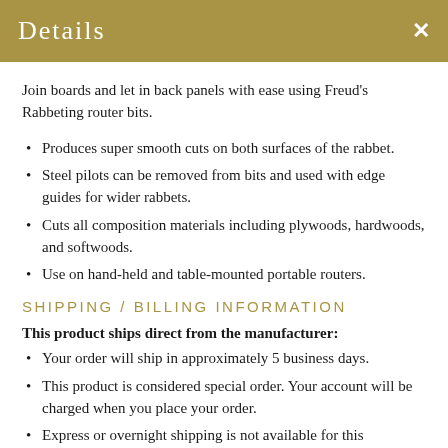Details
Join boards and let in back panels with ease using Freud's Rabbeting router bits.
Produces super smooth cuts on both surfaces of the rabbet.
Steel pilots can be removed from bits and used with edge guides for wider rabbets.
Cuts all composition materials including plywoods, hardwoods, and softwoods.
Use on hand-held and table-mounted portable routers.
SHIPPING / BILLING INFORMATION
This product ships direct from the manufacturer:
Your order will ship in approximately 5 business days.
This product is considered special order. Your account will be charged when you place your order.
Express or overnight shipping is not available for this